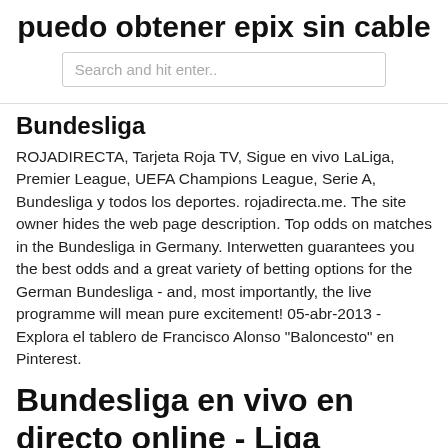puedo obtener epix sin cable
Search and hit enter..
Bundesliga
ROJADIRECTA, Tarjeta Roja TV, Sigue en vivo LaLiga, Premier League, UEFA Champions League, Serie A, Bundesliga y todos los deportes. rojadirecta.me. The site owner hides the web page description. Top odds on matches in the Bundesliga in Germany. Interwetten guarantees you the best odds and a great variety of betting options for the German Bundesliga - and, most importantly, the live programme will mean pure excitement! 05-abr-2013 - Explora el tablero de Francisco Alonso "Baloncesto" en Pinterest.
Bundesliga en vivo en directo online - Liga alemana - Eurosport